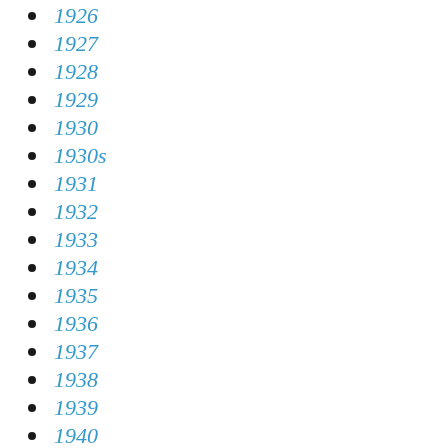1926
1927
1928
1929
1930
1930s
1931
1932
1933
1934
1935
1936
1937
1938
1939
1940
1941